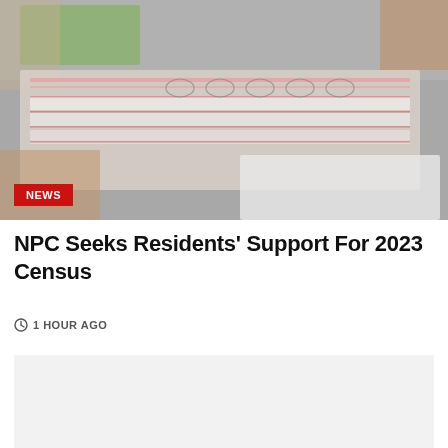[Figure (photo): Hands holding census/voting forms and papers on a table, with a green object visible in the background. A red NEWS badge appears in the lower left corner of the image.]
NPC Seeks Residents' Support For 2023 Census
1 HOUR AGO
[Figure (other): Advertisement or content placeholder box with light gray background.]